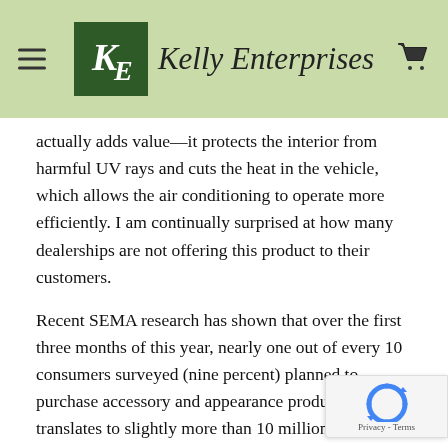Kelly Enterprises
actually adds value—it protects the interior from harmful UV rays and cuts the heat in the vehicle, which allows the air conditioning to operate more efficiently. I am continually surprised at how many dealerships are not offering this product to their customers.
Recent SEMA research has shown that over the first three months of this year, nearly one out of every 10 consumers surveyed (nine percent) planned to purchase accessory and appearance products. This translates to slightly more than 10 million U.S. households planning to purchase some type of appearance accessory for their cars or trucks.